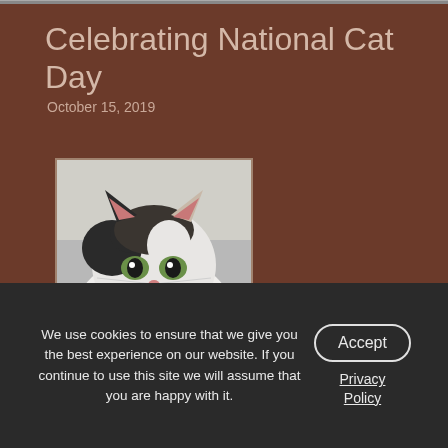Celebrating National Cat Day
October 15, 2019
[Figure (photo): Close-up photo of a fluffy black and white cat with green eyes]
National Cat Day is coming up October 29th! Our feline friends are very cute and lovable pets. Fluffy certainly deserves to be pampered a bit on this special occasion. Read … Read More »
Posted in Cat Care, General Care
We use cookies to ensure that we give you the best experience on our website. If you continue to use this site we will assume that you are happy with it.